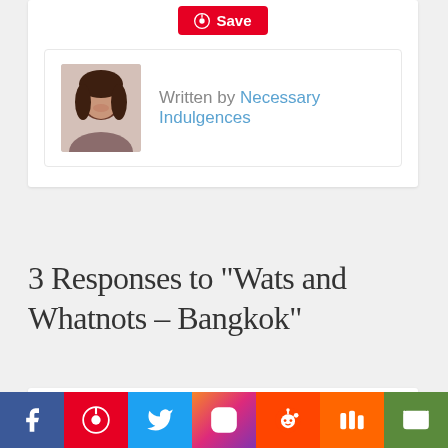[Figure (other): Pinterest Save button (red rounded button with pin icon and 'Save' text)]
[Figure (photo): Author profile card with a photo of a woman with dark hair and text 'Written by Necessary Indulgences']
3 Responses to "Wats and Whatnots – Bangkok"
Gloria Williams says: August 12, 2014 at 9:33 am
[Figure (infographic): Social media sharing bar with icons for Facebook, Pinterest, Twitter, Instagram, Reddit, Mix, and Email]